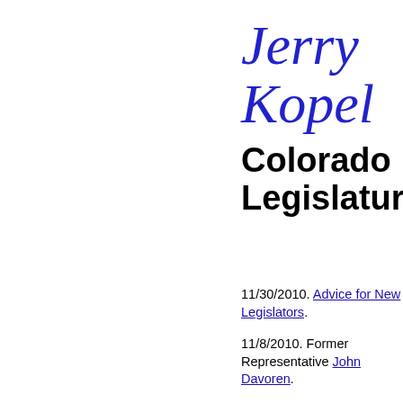Jerry Kopel
Colorado Legislature
11/30/2010. Advice for New Legislators.
11/8/2010. Former Representative John Davoren.
05/24/2010. Statistics: Legislatures with an opposite-party Governor; Bills and Resolutions.